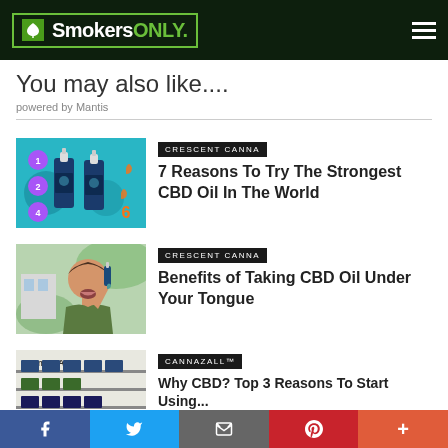SmokersONLY.
You may also like....
powered by Mantis
[Figure (photo): CBD oil dropper bottles on teal background with numbered drops]
CRESCENT CANNA
7 Reasons To Try The Strongest CBD Oil In The World
[Figure (photo): Man tilting head back using CBD oil dropper under tongue]
CRESCENT CANNA
Benefits of Taking CBD Oil Under Your Tongue
[Figure (photo): Cannazall product display partial view]
CANNAZALL™
Why CBD? Top 3 Reasons To Start Using...
f  t  [email]  p  +